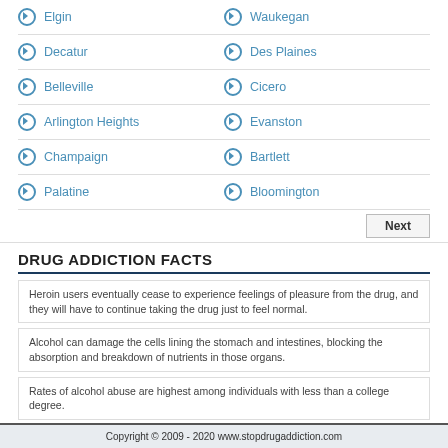Elgin | Waukegan
Decatur | Des Plaines
Belleville | Cicero
Arlington Heights | Evanston
Champaign | Bartlett
Palatine | Bloomington
Next
DRUG ADDICTION FACTS
Heroin users eventually cease to experience feelings of pleasure from the drug, and they will have to continue taking the drug just to feel normal.
Alcohol can damage the cells lining the stomach and intestines, blocking the absorption and breakdown of nutrients in those organs.
Rates of alcohol abuse are highest among individuals with less than a college degree.
Copyright © 2009 - 2020 www.stopdrugaddiction.com